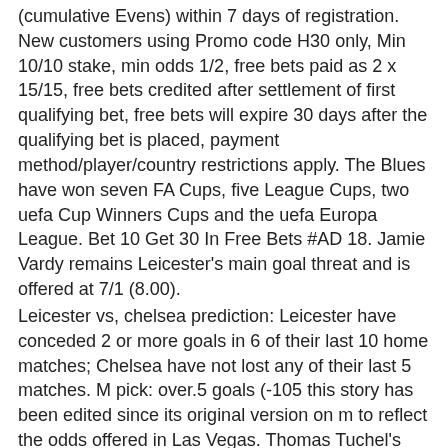(cumulative Evens) within 7 days of registration. New customers using Promo code H30 only, Min 10/10 stake, min odds 1/2, free bets paid as 2 x 15/15, free bets credited after settlement of first qualifying bet, free bets will expire 30 days after the qualifying bet is placed, payment method/player/country restrictions apply. The Blues have won seven FA Cups, five League Cups, two uefa Cup Winners Cups and the uefa Europa League. Bet 10 Get 30 In Free Bets #AD 18. Jamie Vardy remains Leicester's main goal threat and is offered at 7/1 (8.00).
Leicester vs, chelsea prediction: Leicester have conceded 2 or more goals in 6 of their last 10 home matches; Chelsea have not lost any of their last 5 matches. M pick: over.5 goals (-105 this story has been edited since its original version on m to reflect the odds offered in Las Vegas. Thomas Tuchel's men are unbeaten on the road this season, recording four wins and a draw away from Stamford Bridge and the European champions will fancy their chances against a Leicester side that have been shipping plenty of goals.
Plus 100 kings sports betting fixture today Free Spins on Big Bass Bonanza, no wagering. Place your first bet on any